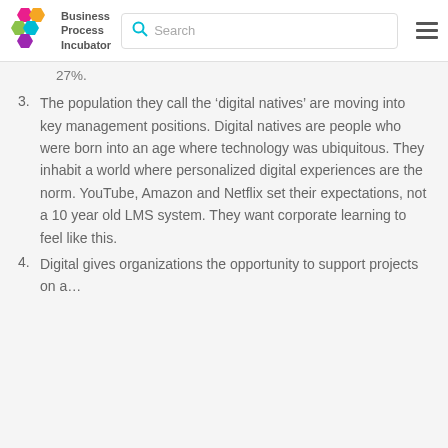Business Process Incubator | Search
27%.
3. The population they call the ‘digital natives’ are moving into key management positions. Digital natives are people who were born into an age where technology was ubiquitous. They inhabit a world where personalized digital experiences are the norm. YouTube, Amazon and Netflix set their expectations, not a 10 year old LMS system. They want corporate learning to feel like this.
4. Digital gives organizations the opportunity to support projects on a…